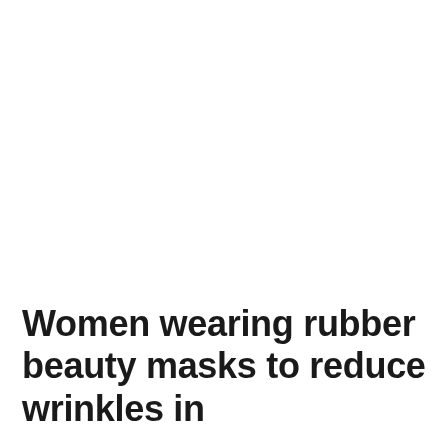Women wearing rubber beauty masks to reduce wrinkles in